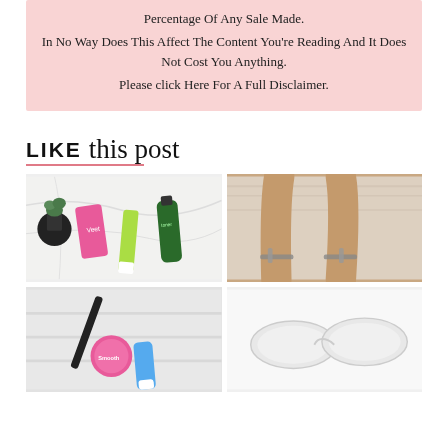Percentage Of Any Sale Made. In No Way Does This Affect The Content You're Reading And It Does Not Cost You Anything. Please click Here For A Full Disclaimer.
LIKE this post
[Figure (photo): Beauty products including Veet hair removal cream, toner, and other skincare products on a marble surface with a plant]
[Figure (photo): Tanned legs wearing strappy heeled sandals resting on a fluffy rug]
[Figure (photo): Razor, mascara, pink and blue beauty products on a light wooden surface]
[Figure (photo): Under-eye gel masks/patches on a white background]